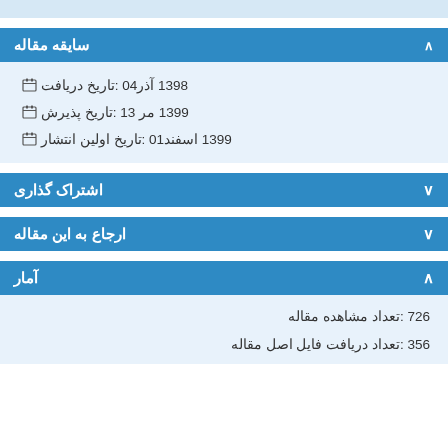سایقه مقاله
تاریخ دریافت: 04آذر 1398
تاریخ پذیرش: 13 مر 1399
تاریخ اولین انتشار: 01اسفند 1399
اشتراک گذاری
ارجاع به این مقاله
آمار
تعداد مشاهده مقاله: 726
تعداد دریافت فایل اصل مقاله: 356